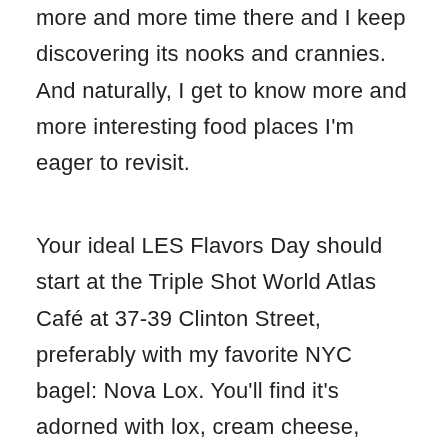more and more time there and I keep discovering its nooks and crannies. And naturally, I get to know more and more interesting food places I'm eager to revisit.
Your ideal LES Flavors Day should start at the Triple Shot World Atlas Café at 37-39 Clinton Street, preferably with my favorite NYC bagel: Nova Lox. You'll find it's adorned with lox, cream cheese, tomatoes, capers, onion… and you will be back next day to enjoy it